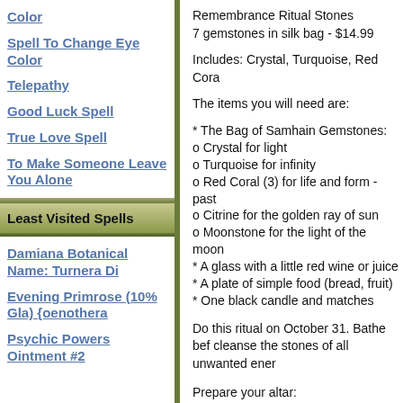Color
Spell To Change Eye Color
Telepathy
Good Luck Spell
True Love Spell
To Make Someone Leave You Alone
Least Visited Spells
Damiana Botanical Name: Turnera Di
Evening Primrose (10% Gla) {oenothera
Psychic Powers Ointment #2
Remembrance Ritual Stones
7 gemstones in silk bag - $14.99
Includes: Crystal, Turquoise, Red Cora
The items you will need are:
* The Bag of Samhain Gemstones:
o Crystal for light
o Turquoise for infinity
o Red Coral (3) for life and form - past
o Citrine for the golden ray of sun
o Moonstone for the light of the moon
* A glass with a little red wine or juice
* A plate of simple food (bread, fruit)
* One black candle and matches
Do this ritual on October 31. Bathe bef cleanse the stones of all unwanted ener
Prepare your altar:
Put all the items on your clean altar. Pu have the matches close by. Place the ca circle around the candle. Place the wine stones.